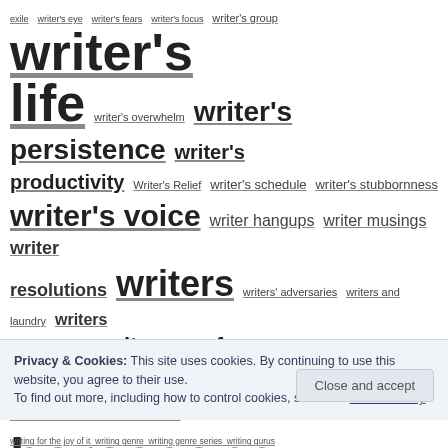exile writer's eye writer's fears writer's focus writer's group writer's life writer's overwhelm writer's persistence writer's productivity Writer's Relief writer's schedule writer's stubbornness writer's voice writer hangups writer musings writer resolutions writers writers' adversaries writers and laundry writers avoid boredom writers conference writers de-stress writers horoscope writers ink writers interviewing characters writers killing time writers reading writers relentlessness writersrelief.com writers resourcefulness Writer Unboxed Write to Done
Privacy & Cookies: This site uses cookies. By continuing to use this website, you agree to their use. To find out more, including how to control cookies, see here: Cookie Policy
Close and accept
writing for the joy of it writing genre writing genre series writing gurus